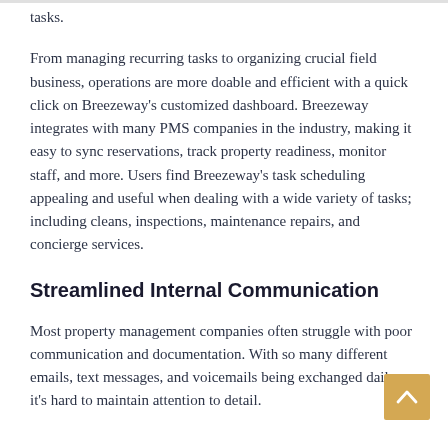tasks.
From managing recurring tasks to organizing crucial field business, operations are more doable and efficient with a quick click on Breezeway’s customized dashboard. Breezeway integrates with many PMS companies in the industry, making it easy to sync reservations, track property readiness, monitor staff, and more. Users find Breezeway’s task scheduling appealing and useful when dealing with a wide variety of tasks; including cleans, inspections, maintenance repairs, and concierge services.
Streamlined Internal Communication
Most property management companies often struggle with poor communication and documentation. With so many different emails, text messages, and voicemails being exchanged daily, it’s hard to maintain attention to detail.